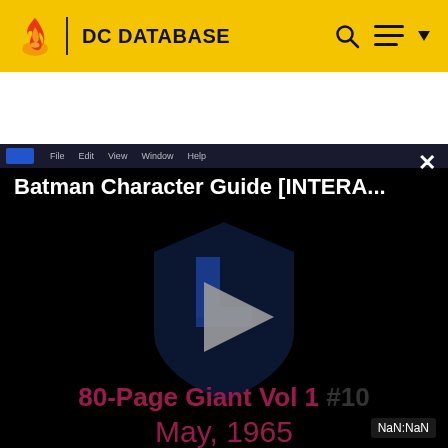DC DATABASE
[Figure (screenshot): Video player showing 'Batman Character Guide [INTERA...' with a play button overlay on a dark background, NaN:NaN time display, and a close (x) button.]
80-Page Giant Vol 1 #10
May, 1965